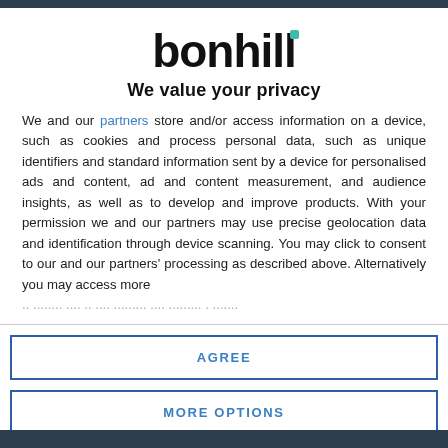[Figure (logo): Bonhill logo — bold black lowercase text 'bonhill' with a teal/green square accent mark above the letter i]
We value your privacy
We and our partners store and/or access information on a device, such as cookies and process personal data, such as unique identifiers and standard information sent by a device for personalised ads and content, ad and content measurement, and audience insights, as well as to develop and improve products. With your permission we and our partners may use precise geolocation data and identification through device scanning. You may click to consent to our and our partners' processing as described above. Alternatively you may access more
AGREE
MORE OPTIONS